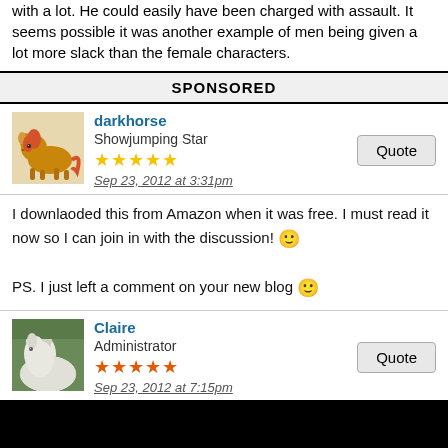with a lot. He could easily have been charged with assault. It seems possible it was another example of men being given a lot more slack than the female characters.
SPONSORED
darkhorse
Showjumping Star
★★★★★
Sep 23, 2012 at 3:31pm
I downlaoded this from Amazon when it was free. I must read it now so I can join in with the discussion! 🙂

PS. I just left a comment on your new blog 🙂
Claire
Administrator
★★★★★
Sep 23, 2012 at 7:15pm
Thanks darkhorse 😗